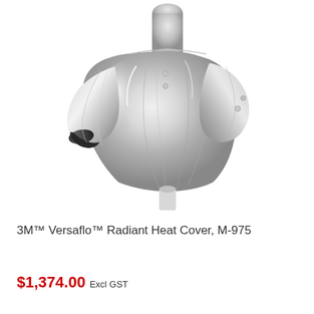[Figure (photo): A reflective silver metallic radiant heat protective cover/jacket on a mannequin torso, shown from a side angle. The garment has a shiny aluminized surface and appears to have short cape-like sleeves.]
3M™ Versaflo™ Radiant Heat Cover, M-975
$1,374.00 Excl GST